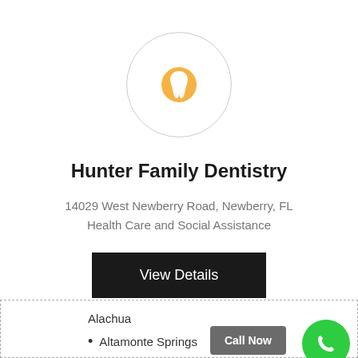[Figure (logo): Circular logo with a tooth icon in orange/gold color on a white circular background with light gray border]
Hunter Family Dentistry
14029 West Newberry Road, Newberry, FL
Health Care and Social Assistance
View Details
Alachua
Altamonte Springs
Call Now